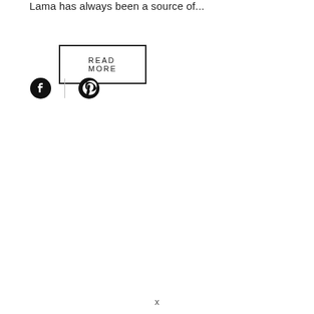Lama has always been a source of...
READ MORE
[Figure (illustration): Facebook and Pinterest social media icons with a vertical divider between them]
x